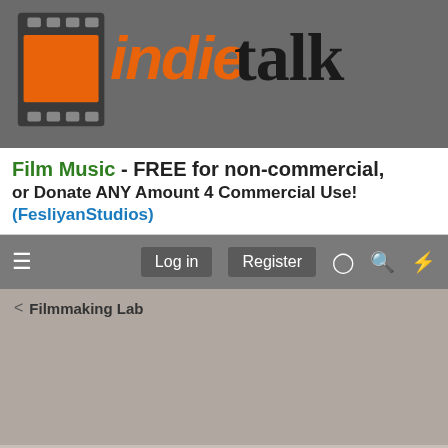[Figure (logo): IndieTalk logo with film strip graphic, orange 'indie' italic text and black 'talk' text on gray background]
Film Music - FREE for non-commercial, or Donate ANY Amount 4 Commercial Use! (FesliyanStudios)
Log in  Register
< Filmmaking Lab
directing  How would you best spend 50K and
Enjoying the site? It's easy to register, even with your social media login! And you will be able to access more content. Click Here to register now!